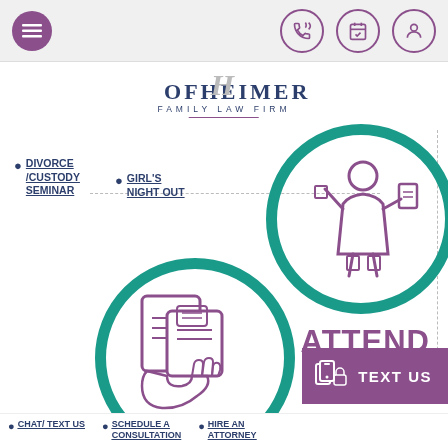Navigation bar with menu icon and contact icons
[Figure (logo): Hofheimer Family Law Firm logo with stylized H monogram]
DIVORCE /CUSTODY SEMINAR
GIRL'S NIGHT OUT
[Figure (infographic): Two overlapping teal circles: top-right circle with a person/woman icon in purple outline, bottom-left circle with a phone/document icon in purple outline. Text ATTEND appears to the right.]
ATTEND
TEXT US
CHAT/ TEXT US
SCHEDULE A CONSULTATION
HIRE AN ATTORNEY